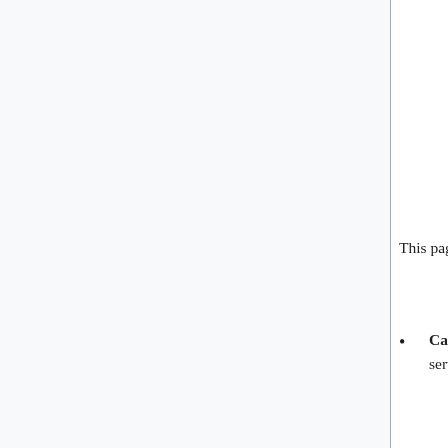| 2.4 | Wednesday, February 17 |
| 2.5 | Thursday, February 18 |
| 2.6 | Friday, February 19 |
| 2.7 | Saturday, February 20 |
This page tracks upcoming deployments of software to the Wikimedia Foundation servers.
Cadence: MediaWiki follows a weekly deploy cadence, except for backports. For other services, teams decide their own schedule.
Schedule: Generally use Backport windows instead of scheduling new windows. But, long running tasks and others things covered by Inclusion criteria do require their own windows. When creating windows, schedule more time than you think you need, to account for issues that